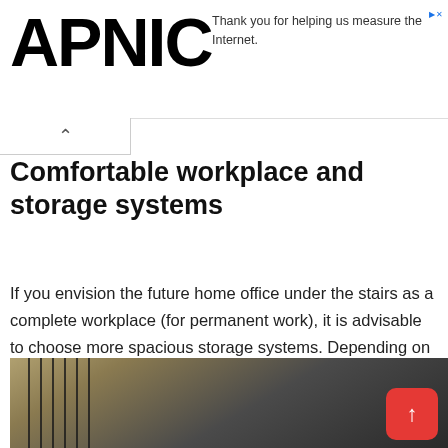APNIC
Thank you for helping us measure the Internet.
Comfortable workplace and storage systems
If you envision the future home office under the stairs as a complete workplace (for permanent work), it is advisable to choose more spacious storage systems. Depending on the possible area and the room where the ladder is located, these can be completely different solutions.
[Figure (photo): Photo of stairs/staircase area showing wooden steps and metal railings, representing a home office under stairs concept. A red scroll-to-top button is overlaid in the bottom right corner.]